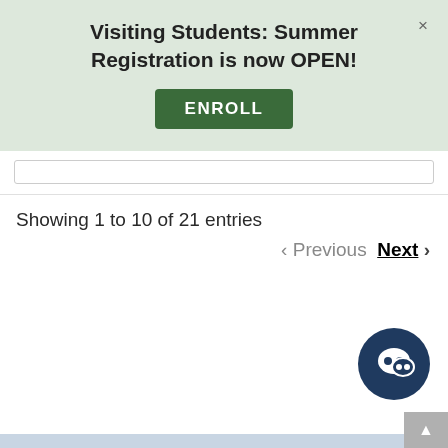Visiting Students: Summer Registration is now OPEN!
ENROLL
Showing 1 to 10 of 21 entries
‹ Previous   Next ›